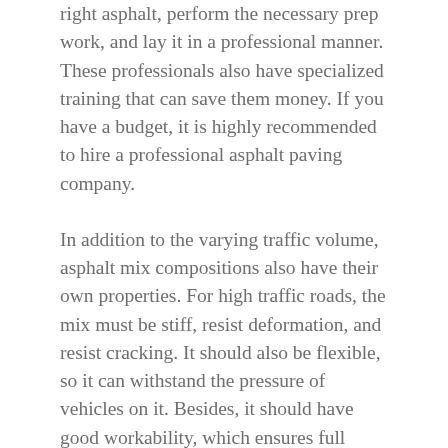right asphalt, perform the necessary prep work, and lay it in a professional manner. These professionals also have specialized training that can save them money. If you have a budget, it is highly recommended to hire a professional asphalt paving company.
In addition to the varying traffic volume, asphalt mix compositions also have their own properties. For high traffic roads, the mix must be stiff, resist deformation, and resist cracking. It should also be flexible, so it can withstand the pressure of vehicles on it. Besides, it should have good workability, which ensures full compaction. These characteristics will determine the durability of the asphalt pavement. When selecting the right asphalt mix for your project, you must make sure that it meets the demands of the project.
The Superpave system has a far-reaching influence. Its